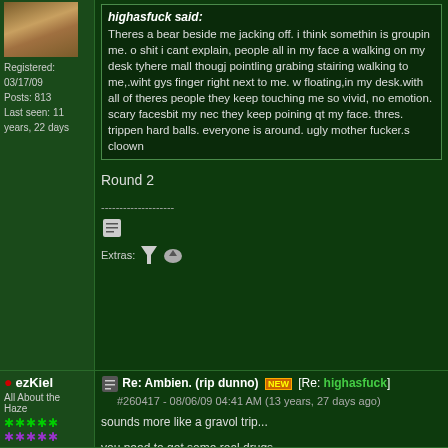Registered: 03/17/09
Posts: 813
Last seen: 11 years, 22 days
highasfuck said:
Theres a bear beside me jacking off. i think somethin is groupin me. o shit i cant explain, people all in my face a walking on my desk tyhere mall thougj pointling grabing stairing walking to me,.wiht gys finger right next to me. w floating,in my desk.with all of theres people they keep touching me so vivid, no emotion. scary facesbit my nec they keep poining qt my face. thres. trippen hard balls. everyone is around. ugly mother fucker.s cloown
Round 2
--------------------
Extras:
ezKiel
All About the Haze
Re: Ambien. (rip dunno) [Re: highasfuck]
#260417 - 08/06/09 04:41 AM (13 years, 27 days ago)
sounds more like a gravol trip...
you need to get some real drugs.
weed acid and mushrooms and some deep thought should hel